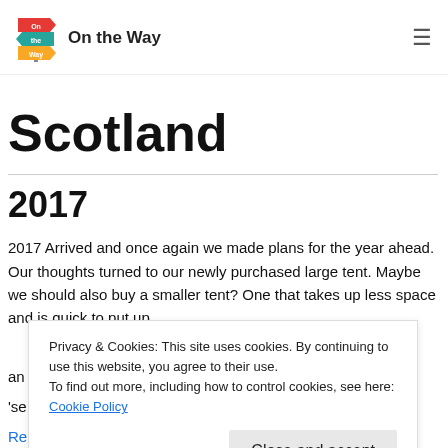On the Way
Scotland
2017
2017 Arrived and once again we made plans for the year ahead. Our thoughts turned to our newly purchased large tent. Maybe we should also buy a smaller tent? One that takes up less space and is quick to put up and ... 'Se...
Privacy & Cookies: This site uses cookies. By continuing to use this website, you agree to their use.
To find out more, including how to control cookies, see here: Cookie Policy
Re...